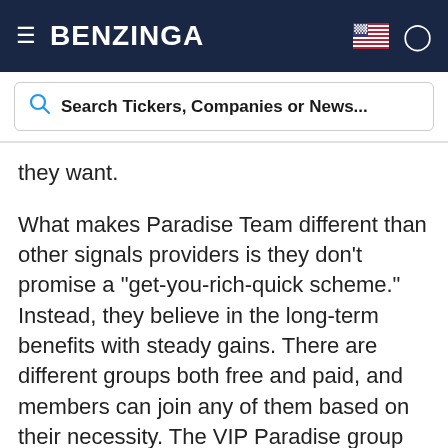BENZINGA
Search Tickers, Companies or News...
they want.
What makes Paradise Team different than other signals providers is they don't promise a "get-you-rich-quick scheme." Instead, they believe in the long-term benefits with steady gains. There are different groups both free and paid, and members can join any of them based on their necessity. The VIP Paradise group gets up to 80 Cryptocurrency signals in a month, these signals mirror the trades executed by the Paradise Team traders with an astonishingly high rate of success. The signals are provided only through Official Paradise groups on Telegram.